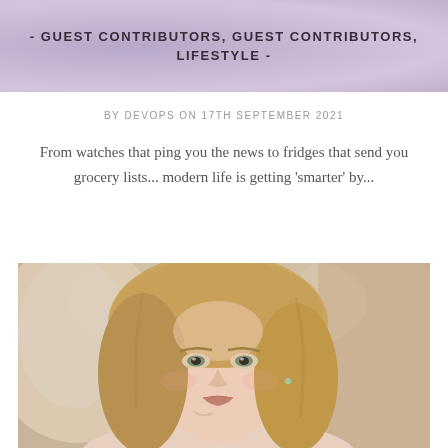- GUEST CONTRIBUTORS, GUEST CONTRIBUTORS, LIFESTYLE -
BY DEVOPS ON 17TH SEPTEMBER 2021
From watches that ping you the news to fridges that send you grocery lists... modern life is getting 'smarter' by...
[Figure (photo): Portrait photo of a blonde woman touching her chin, looking at camera, with soft blurred background]